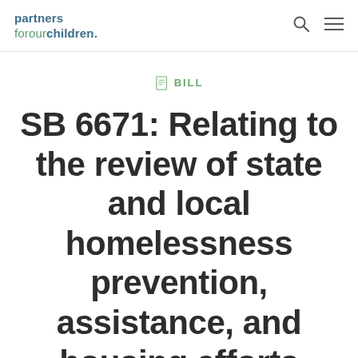partners forourchildren.
BILL
SB 6671: Relating to the review of state and local homelessness prevention, assistance, and housing efforts